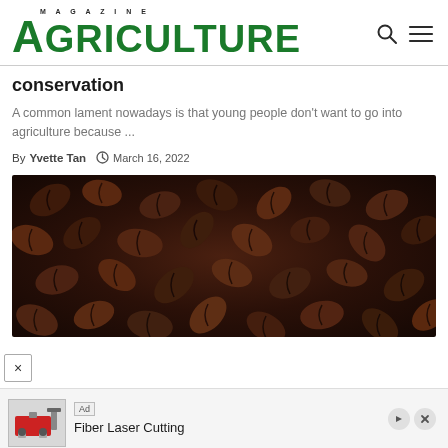AGRICULTURE MAGAZINE
conservation
A common lament nowadays is that young people don't want to go into agriculture because ...
By Yvette Tan  March 16, 2022
[Figure (photo): Close-up photograph of dark roasted coffee beans filling the entire frame]
Ad  Fiber Laser Cutting